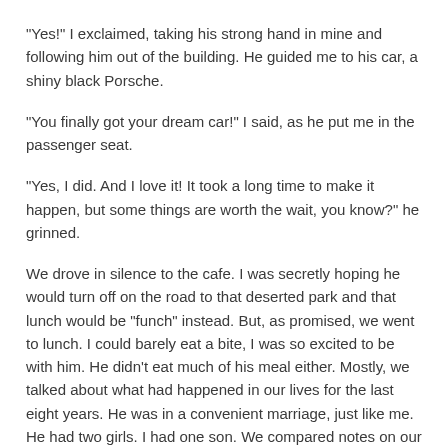“Yes!” I exclaimed, taking his strong hand in mine and following him out of the building.  He guided me to his car, a shiny black Porsche.
“You finally got your dream car!” I said, as he put me in the passenger seat.
“Yes, I did. And I love it! It took a long time to make it happen, but some things are worth the wait, you know?” he grinned.
We drove in silence to the cafe.  I was secretly hoping he would turn off on the road to that deserted park and that lunch would be “funch” instead.  But, as promised, we went to lunch. I could barely eat a bite, I was so excited to be with him.  He didn’t eat much of his meal either.  Mostly, we talked about what had happened in our lives for the last eight years.  He was in a convenient marriage, just like me.  He had two girls.  I had one son.  We compared notes on our careers and the conversation lagged.
He put his hand on mine, “I think of you every day. Every single day. I